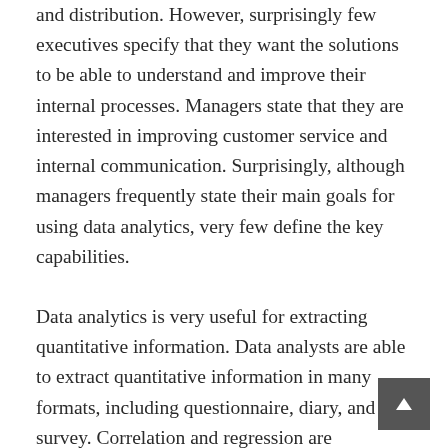and distribution. However, surprisingly few executives specify that they want the solutions to be able to understand and improve their internal processes. Managers state that they are interested in improving customer service and internal communication. Surprisingly, although managers frequently state their main goals for using data analytics, very few define the key capabilities.
Data analytics is very useful for extracting quantitative information. Data analysts are able to extract quantitative information in many formats, including questionnaire, diary, and survey. Correlation and regression are expensive and complex data analysis techniques. But for simpler research, data analysis tools such as R (R package) and SAS